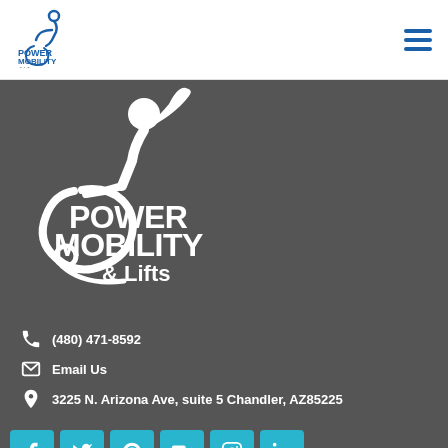[Figure (logo): Power Mobility & Lifts logo small - header version with wheelchair user graphic and blue text]
[Figure (logo): Power Mobility & Lifts large white logo on dark gray background with wheelchair user graphic]
(480) 471-8592
Email Us
3225 N. Arizona Ave, suite 5 Chandler, AZ85225
[Figure (infographic): Social media icons row: Facebook, Twitter, Pinterest, YouTube, Instagram, LinkedIn - teal/cyan square buttons]